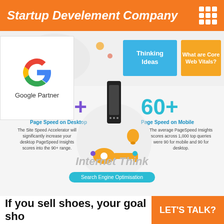Startup Develement Company
[Figure (infographic): Infographic showing Google Partner badge, 90+ Page Speed on Desktop, 60+ Page Speed on Mobile, key and phone illustration, Thinking Ideas card, What are Core Web Vitals card, Internet Think watermark, Search Engine Optimisation button]
www.promoteabhi.com
If you sell shoes, your goal sho
LET'S TALK?